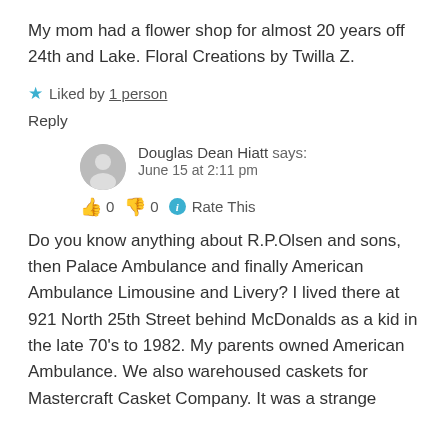My mom had a flower shop for almost 20 years off 24th and Lake. Floral Creations by Twilla Z.
★ Liked by 1 person
Reply
Douglas Dean Hiatt says: June 15 at 2:11 pm
👍 0 👎 0 ℹ Rate This
Do you know anything about R.P.Olsen and sons, then Palace Ambulance and finally American Ambulance Limousine and Livery? I lived there at 921 North 25th Street behind McDonalds as a kid in the late 70's to 1982. My parents owned American Ambulance. We also warehoused caskets for Mastercraft Casket Company. It was a strange